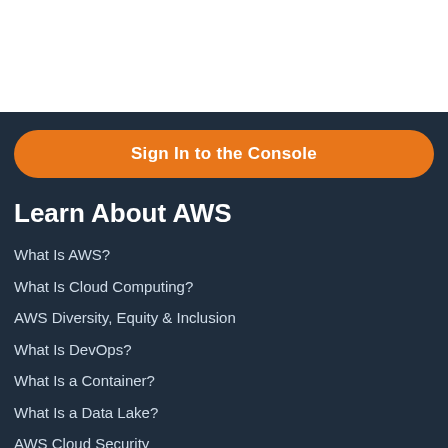[Figure (screenshot): White blank top section of webpage]
Sign In to the Console
Learn About AWS
What Is AWS?
What Is Cloud Computing?
AWS Diversity, Equity & Inclusion
What Is DevOps?
What Is a Container?
What Is a Data Lake?
AWS Cloud Security
What's New
Blogs